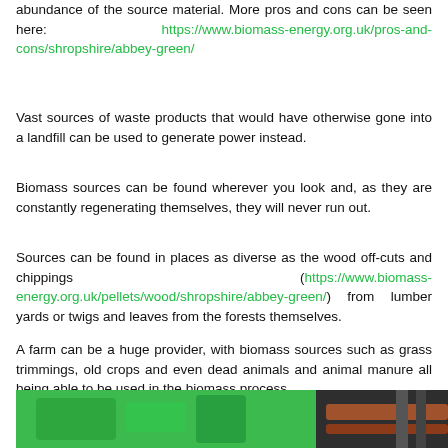abundance of the source material. More pros and cons can be seen here: https://www.biomass-energy.org.uk/pros-and-cons/shropshire/abbey-green/
Vast sources of waste products that would have otherwise gone into a landfill can be used to generate power instead.
Biomass sources can be found wherever you look and, as they are constantly regenerating themselves, they will never run out.
Sources can be found in places as diverse as the wood off-cuts and chippings (https://www.biomass-energy.org.uk/pellets/wood/shropshire/abbey-green/) from lumber yards or twigs and leaves from the forests themselves.
A farm can be a huge provider, with biomass sources such as grass trimmings, old crops and even dead animals and animal manure all being able to be used in the biomass process.
[Figure (photo): Photograph showing green biomass energy industrial equipment/pipes, predominantly green background with brown/orange pipes and machinery visible on the right side.]